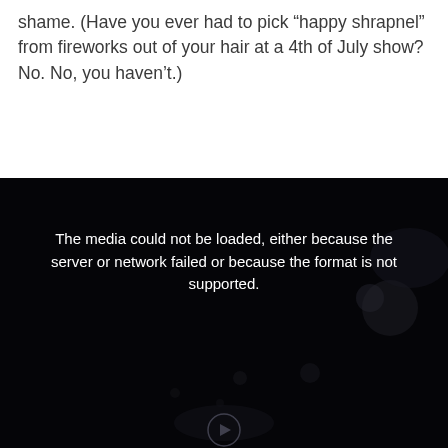shame. (Have you ever had to pick “happy shrapnel” from fireworks out of your hair at a 4th of July show? No. No, you haven’t.)
[Figure (other): A dark/black video player frame with a media error message: 'The media could not be loaded, either because the server or network failed or because the format is not supported.' A faint circular play button icon is visible at the bottom center. The background shows a dark night sky with faint light bokeh effects.]